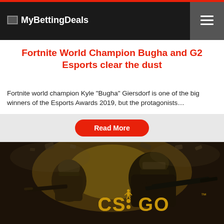MyBettingDeals
Fortnite World Champion Bugha and G2 Esports clear the dust
Fortnite world champion Kyle "Bugha" Giersdorf is one of the big winners of the Esports Awards 2019, but the protagonists…
[Figure (screenshot): CS:GO game artwork showing soldiers with rifles and the CS:GO logo in gold text on a dark background]